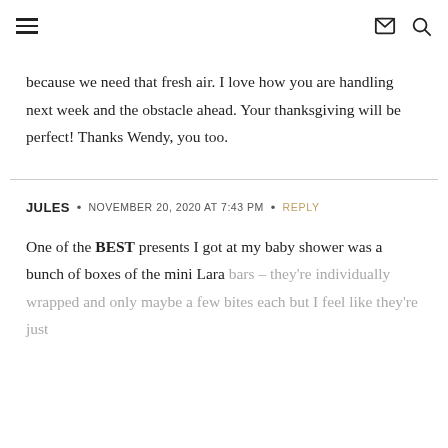≡  ✉ 🔍
because we need that fresh air. I love how you are handling next week and the obstacle ahead. Your thanksgiving will be perfect! Thanks Wendy, you too.
JULES  •  NOVEMBER 20, 2020 AT 7:43 PM  •  REPLY
One of the BEST presents I got at my baby shower was a bunch of boxes of the mini Lara bars – they're individually wrapped and only maybe a few bites each but I feel like they're just